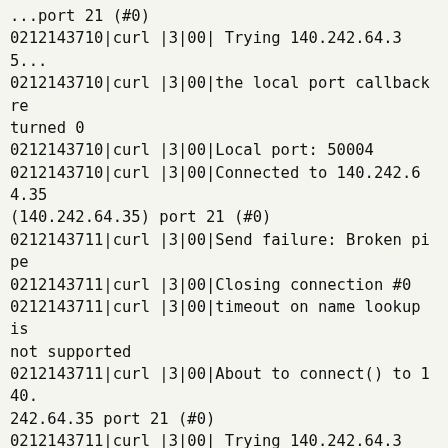...port 21 (#0)
0212143710|curl |3|00| Trying 140.242.64.35...
0212143710|curl |3|00|the local port callback returned 0
0212143710|curl |3|00|Local port: 50004
0212143710|curl |3|00|Connected to 140.242.64.35 (140.242.64.35) port 21 (#0)
0212143711|curl |3|00|Send failure: Broken pipe
0212143711|curl |3|00|Closing connection #0
0212143711|curl |3|00|timeout on name lookup is not supported
0212143711|curl |3|00|About to connect() to 140.242.64.35 port 21 (#0)
0212143711|curl |3|00| Trying 140.242.64.35...
0212143711|curl |3|00|the local port callback returned 0
0212143711|curl |3|00|Local port: 48858
0212143711|curl |3|00|Connected to 140.242.64.35 (140.242.64.35) port 21 (#0)
0212143712|curl |3|00|Send failure: Broken pipe
0212143712|curl |3|00|Closing connection #0